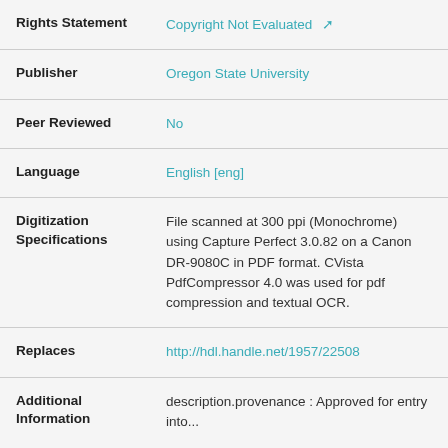| Rights Statement | Copyright Not Evaluated |
| Publisher | Oregon State University |
| Peer Reviewed | No |
| Language | English [eng] |
| Digitization Specifications | File scanned at 300 ppi (Monochrome) using Capture Perfect 3.0.82 on a Canon DR-9080C in PDF format. CVista PdfCompressor 4.0 was used for pdf compression and textual OCR. |
| Replaces | http://hdl.handle.net/1957/22508 |
| Additional Information | description.provenance : Approved for entry into... |